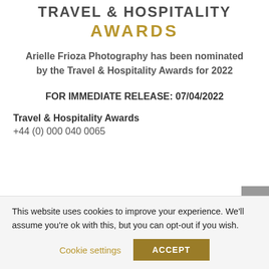TRAVEL & HOSPITALITY AWARDS
Arielle Frioza Photography has been nominated by the Travel & Hospitality Awards for 2022
FOR IMMEDIATE RELEASE: 07/04/2022
Travel & Hospitality Awards
+44 (0) 000 040 0065
This website uses cookies to improve your experience. We'll assume you're ok with this, but you can opt-out if you wish.
Cookie settings
ACCEPT